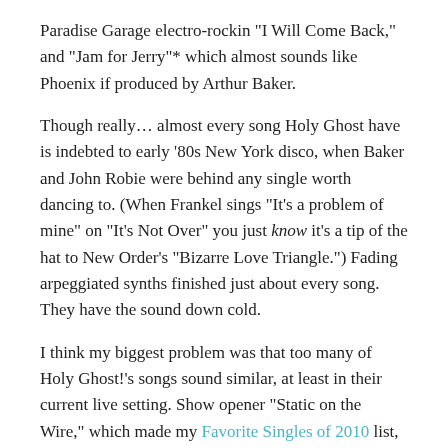Paradise Garage electro-rockin "I Will Come Back," and "Jam for Jerry"* which almost sounds like Phoenix if produced by Arthur Baker.
Though really… almost every song Holy Ghost have is indebted to early '80s New York disco, when Baker and John Robie were behind any single worth dancing to. (When Frankel sings "It's a problem of mine" on "It's Not Over" you just know it's a tip of the hat to New Order's "Bizarre Love Triangle.") Fading arpeggiated synths finished just about every song. They have the sound down cold.
I think my biggest problem was that too many of Holy Ghost!'s songs sound similar, at least in their current live setting. Show opener "Static on the Wire," which made my Favorite Singles of 2010 list, is kind of like a sped up, improved take on "Say My Name." On stage, with a stripped down sound and that bare-bones, heavy-on-the-hi-hat beat driving all the songs, many of the tunes just sort of ran together.
What I think would really help would be the addition of a real bassist. They do use the classic 303 sounds a lot, but drummer Nick Millhiser could really use someone to play off of instead of relying on his